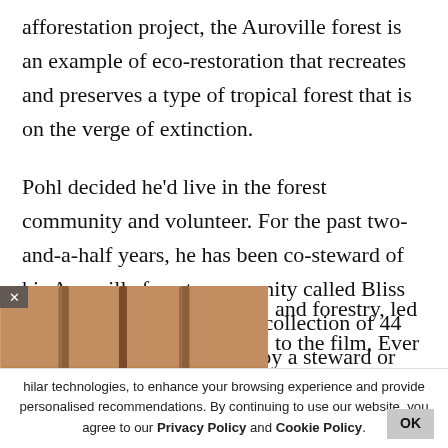afforestation project, the Auroville forest is an example of eco-restoration that recreates and preserves a type of tropical forest that is on the verge of extinction.
Pohl decided he'd live in the forest community and volunteer. For the past two-and-a-half years, he has been co-steward of his Auroville forest community called Bliss Forest. The forest houses a collection of 44 communities, each headed by a steward or two. His
[Figure (photo): Photo of two hands gripping metal bars, with a close button (x) in the top-left corner of the image.]
and forestry, led to the film, Ever Slow Green.
hilar technologies, to enhance your browsing experience and provide personalised recommendations. By continuing to use our website, you agree to our Privacy Policy and Cookie Policy.